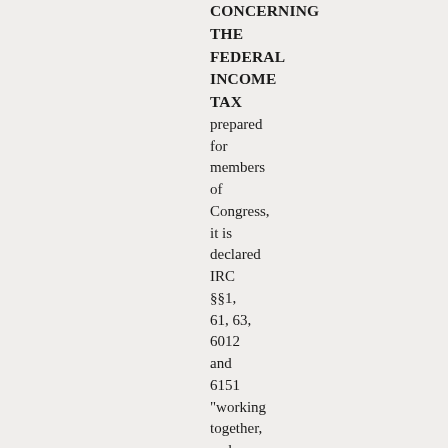CONCERNING THE FEDERAL INCOME TAX prepared for members of Congress, it is declared IRC §§1, 61, 63, 6012 and 6151 "working together, make an individual liable for